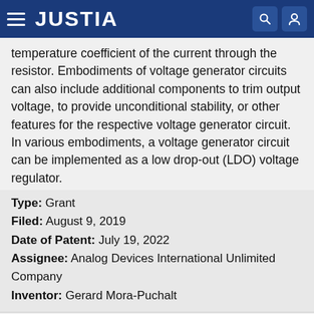JUSTIA
temperature coefficient of the current through the resistor. Embodiments of voltage generator circuits can also include additional components to trim output voltage, to provide unconditional stability, or other features for the respective voltage generator circuit. In various embodiments, a voltage generator circuit can be implemented as a low drop-out (LDO) voltage regulator.
Type: Grant
Filed: August 9, 2019
Date of Patent: July 19, 2022
Assignee: Analog Devices International Unlimited Company
Inventor: Gerard Mora-Puchalt
Surface mount coil component, method of manufacturing the same, and DC-DC converter using